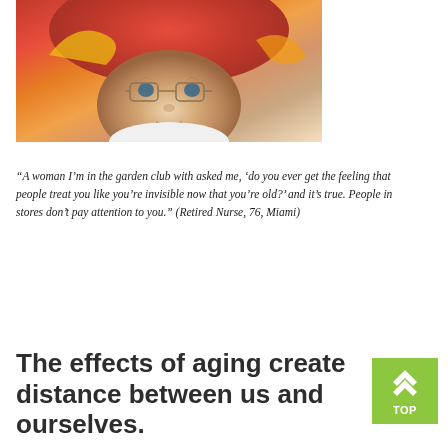[Figure (photo): Close-up portrait of an elderly woman wearing glasses and a colorful red and yellow hat, with white clothing visible at the bottom.]
“A woman I’m in the garden club with asked me, ‘do you ever get the feeling that people treat you like you’re invisible now that you’re old?’ and it’s true. People in stores don’t pay attention to you.” (Retired Nurse, 76, Miami)
The effects of aging create distance between us and ourselves.